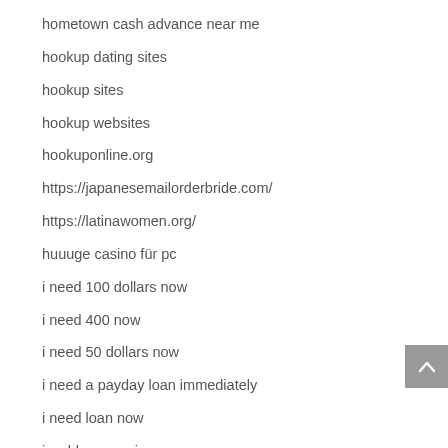hometown cash advance near me
hookup dating sites
hookup sites
hookup websites
hookuponline.org
https://japanesemailorderbride.com/
https://latinawomen.org/
huuuge casino für pc
i need 100 dollars now
i need 400 now
i need 50 dollars now
i need a payday loan immediately
i need loan now
icashloans reviews
ilmaista pelirahaa ilman talletusta